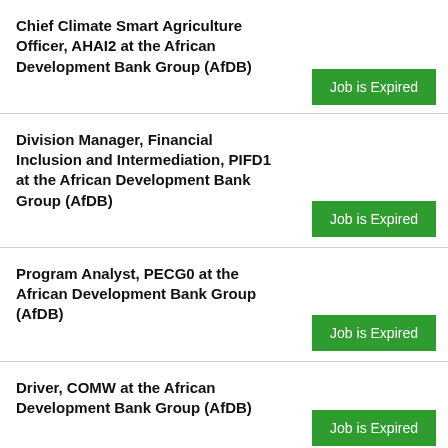Chief Climate Smart Agriculture Officer, AHAI2 at the African Development Bank Group (AfDB)
Job is Expired
Division Manager, Financial Inclusion and Intermediation, PIFD1 at the African Development Bank Group (AfDB)
Job is Expired
Program Analyst, PECG0 at the African Development Bank Group (AfDB)
Job is Expired
Driver, COMW at the African Development Bank Group (AfDB)
Job is Expired